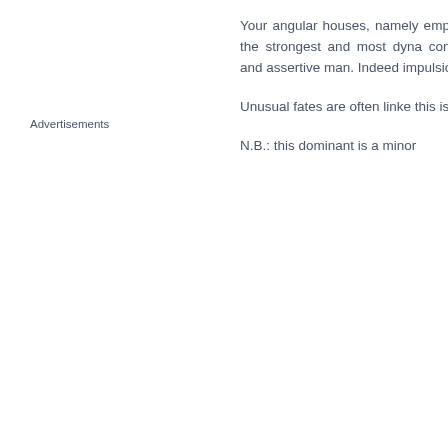Advertisements
Your angular houses, namely emphasized in your chart, Log the strongest and most dyna concur, angular houses sugg and assertive man. Indeed impulsions and to give a powe
Unusual fates are often linke this is only a partial indication.
N.B.: this dominant is a minor